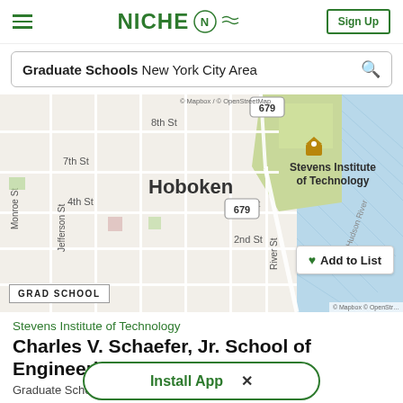NICHE — Sign Up
Graduate Schools New York City Area
[Figure (map): Street map of Hoboken, NJ showing Stevens Institute of Technology location near the Hudson River, with streets labeled 2nd St, 3rd St, 4th St, 7th St, 8th St, River St, Monroe St, Jefferson St, and route 679. Map attribution: Mapbox / OpenStreetMap.]
GRAD SCHOOL
Add to List
Stevens Institute of Technology
Charles V. Schaefer, Jr. School of Engineering & Science
Graduate School • Hoboken, NJ
Install App